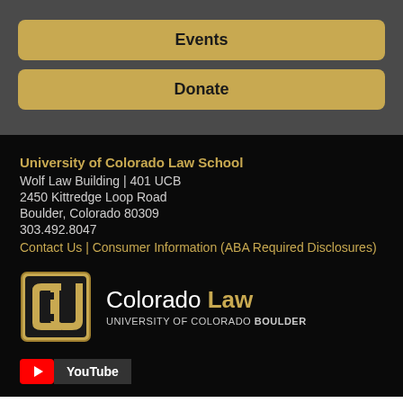Events
Donate
University of Colorado Law School
Wolf Law Building | 401 UCB
2450 Kittredge Loop Road
Boulder, Colorado 80309
303.492.8047
Contact Us | Consumer Information (ABA Required Disclosures)
[Figure (logo): University of Colorado Buffalo logo with interlocking CU letters in gold and black]
Colorado Law UNIVERSITY OF COLORADO BOULDER
YouTube